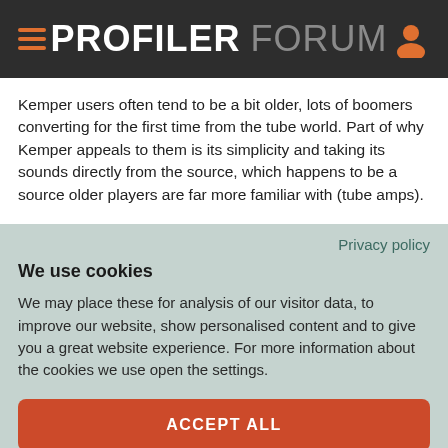PROFILER FORUM
Kemper users often tend to be a bit older, lots of boomers converting for the first time from the tube world. Part of why Kemper appeals to them is its simplicity and taking its sounds directly from the source, which happens to be a source older players are far more familiar with (tube amps).
Privacy policy
We use cookies
We may place these for analysis of our visitor data, to improve our website, show personalised content and to give you a great website experience. For more information about the cookies we use open the settings.
ACCEPT ALL
DENY
NO, ADJUST